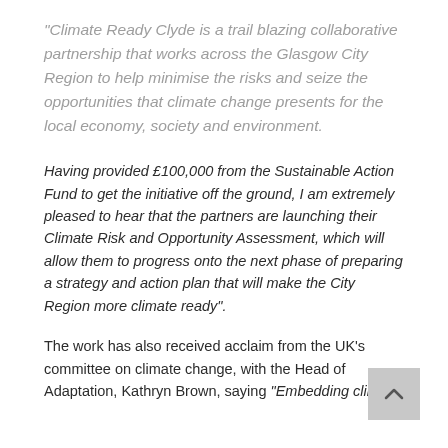“Climate Ready Clyde is a trail blazing collaborative partnership that works across the Glasgow City Region to help minimise the risks and seize the opportunities that climate change presents for the local economy, society and environment.
Having provided £100,000 from the Sustainable Action Fund to get the initiative off the ground, I am extremely pleased to hear that the partners are launching their Climate Risk and Opportunity Assessment, which will allow them to progress onto the next phase of preparing a strategy and action plan that will make the City Region more climate ready”.
The work has also received acclaim from the UK’s committee on climate change, with the Head of Adaptation, Kathryn Brown, saying “Embedding climate